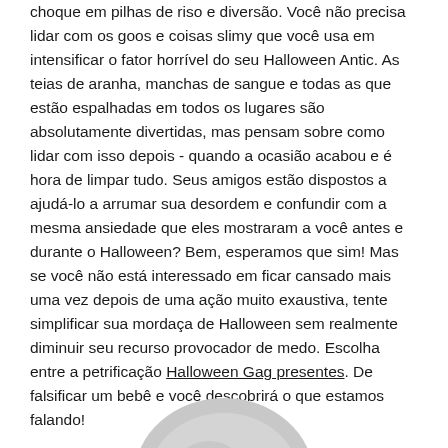choque em pilhas de riso e diversão. Você não precisa lidar com os goos e coisas slimy que você usa em intensificar o fator horrível do seu Halloween Antic. As teias de aranha, manchas de sangue e todas as que estão espalhadas em todos os lugares são absolutamente divertidas, mas pensam sobre como lidar com isso depois - quando a ocasião acabou e é hora de limpar tudo. Seus amigos estão dispostos a ajudá-lo a arrumar sua desordem e confundir com a mesma ansiedade que eles mostraram a você antes e durante o Halloween? Bem, esperamos que sim! Mas se você não está interessado em ficar cansado mais uma vez depois de uma ação muito exaustiva, tente simplificar sua mordaça de Halloween sem realmente diminuir seu recurso provocador de medo. Escolha entre a petrificação Halloween Gag presentes. De falsificar um bebê e você descobrirá o que estamos falando!
[Figure (photo): Partial image of what appears to be a grey/silver Halloween-related object, visible at the bottom of the page.]